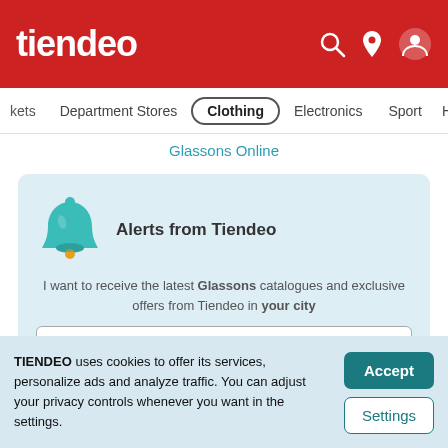tiendeo
kets   Department Stores   Clothing   Electronics   Sport   Ho
Glassons Online
Alerts from Tiendeo
I want to receive the latest Glassons catalogues and exclusive offers from Tiendeo in your city
Enter your email
TIENDEO uses cookies to offer its services, personalize ads and analyze traffic. You can adjust your privacy controls whenever you want in the settings.
Accept
Settings